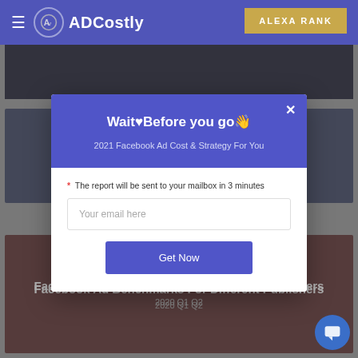ADCostly | ALEXA RANK
[Figure (screenshot): ADCostly website navigation bar with hamburger menu, circular logo, brand name ADCostly, and golden ALEXA RANK button top right]
Wait♥Before you go👋
2021 Facebook Ad Cost & Strategy For You
* The report will be sent to your mailbox in 3 minutes
Your email here
Get Now
Facebook Ad Benchmarks For Different Publishers
2020 Q1 Q2